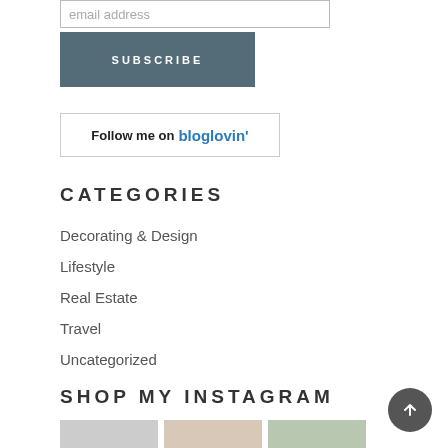email address
SUBSCRIBE
Follow me on bloglovin'
CATEGORIES
Decorating & Design
Lifestyle
Real Estate
Travel
Uncategorized
SHOP MY INSTAGRAM
[Figure (photo): Three Instagram thumbnail photos side by side]
[Figure (other): Back to top circular button with upward arrow]